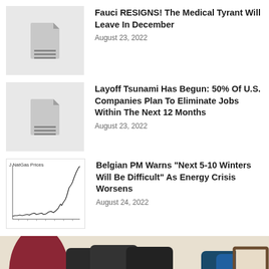Fauci RESIGNS! The Medical Tyrant Will Leave In December
August 23, 2022
Layoff Tsunami Has Begun: 50% Of U.S. Companies Plan To Eliminate Jobs Within The Next 12 Months
August 23, 2022
[Figure (continuous-plot): Line chart showing J NatGas Prices rising sharply over time]
Belgian PM Warns “Next 5-10 Winters Will Be Difficult” As Energy Crisis Worsens
August 24, 2022
[Figure (photo): Photo of coats hanging on hooks or rack]